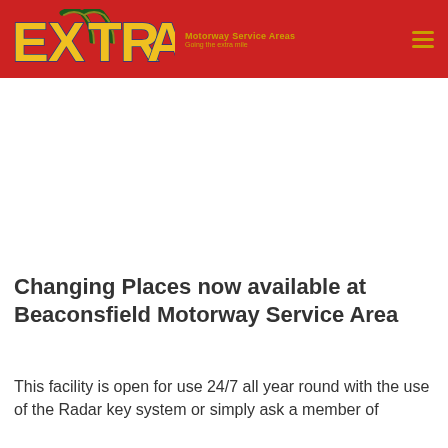[Figure (logo): Extra Motorway Service Areas logo — stylized yellow letters EXTRA with a golden arch above the T on a red background header, with tagline 'Motorway Service Areas / Going the extra mile']
Changing Places now available at Beaconsfield Motorway Service Area
This facility is open for use 24/7 all year round with the use of the Radar key system or simply ask a member of